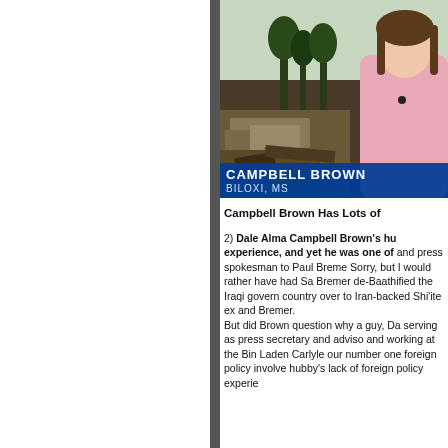[Figure (screenshot): TV news screenshot of reporter Campbell Brown reporting from Biloxi, MS, with chyron overlay showing 'CAMPBELL BROWN' and 'BILOXI, MS']
Campbell Brown Has Lots of
2) Dale Alma Campbell Brown's hu experience, and yet he was one of and press spokesman to Paul Breme Sorry, but I would rather have had Sa Bremer de-Baathified the Iraqi govern country over to Iran-backed Shi'ite ex and Bremer.
But did Brown question why a guy, Da serving as press secretary and adviso and working at the Bin Laden Carlyle our number one foreign policy involve hubby's lack of foreign policy experie